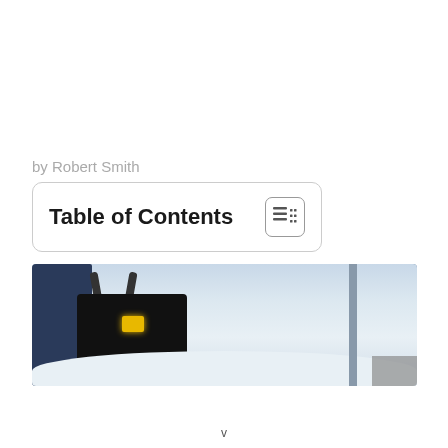by Robert Smith
Table of Contents
[Figure (photo): Person operating a snow blower machine in snowy conditions outdoors, with snow on the ground and falling snow visible]
v